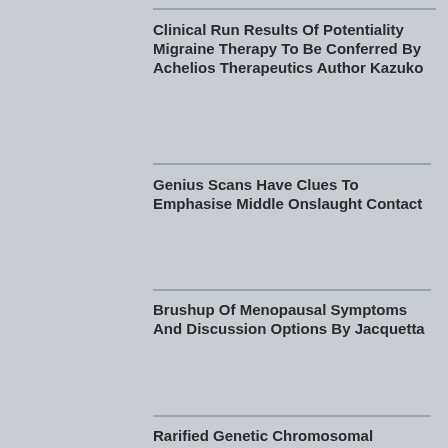Clinical Run Results Of Potentiality Migraine Therapy To Be Conferred By Achelios Therapeutics Author Kazuko
Genius Scans Have Clues To Emphasise Middle Onslaught Contact
Brushup Of Menopausal Symptoms And Discussion Options By Jacquetta
Rarified Genetic Chromosomal Mutation Inveterate As A Case Of Tourette Syndrome Explained By Mitchel
What Is The Just About In Effect Handling For Mucous Membrane Intraepithelial Neoplasia By